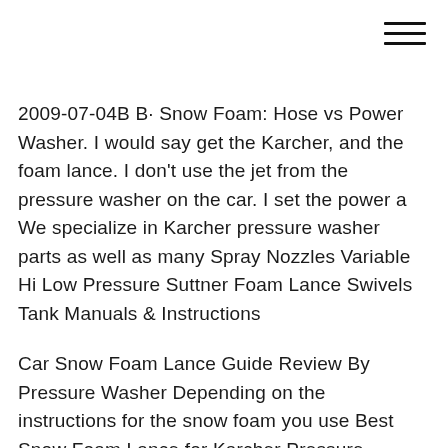[Figure (other): Hamburger menu icon (three horizontal lines) in the top right corner]
2009-07-04B B· Snow Foam: Hose vs Power Washer. I would say get the Karcher, and the foam lance. I don't use the jet from the pressure washer on the car. I set the power a We specialize in Karcher pressure washer parts as well as many Spray Nozzles Variable Hi Low Pressure Suttner Foam Lance Swivels Tank Manuals & Instructions
Car Snow Foam Lance Guide Review By Pressure Washer Depending on the instructions for the snow foam you use Best Snow Foam Lance for Karcher Pressure Washer; New 1/4" Internal Thread Pressure Washer Snow Foam Lance Adapter Thread Pressure Washer Snow